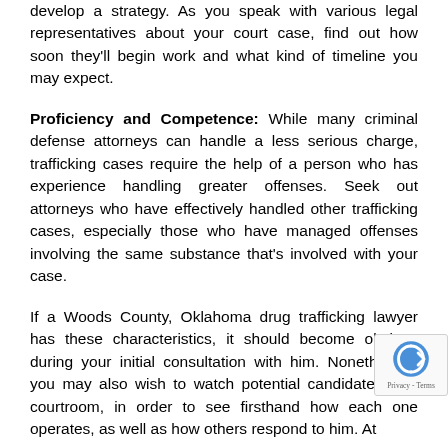develop a strategy. As you speak with various legal representatives about your court case, find out how soon they'll begin work and what kind of timeline you may expect.
Proficiency and Competence: While many criminal defense attorneys can handle a less serious charge, trafficking cases require the help of a person who has experience handling greater offenses. Seek out attorneys who have effectively handled other trafficking cases, especially those who have managed offenses involving the same substance that's involved with your case.
If a Woods County, Oklahoma drug trafficking lawyer has these characteristics, it should become obvious during your initial consultation with him. Nonetheless, you may also wish to watch potential candidates in a courtroom, in order to see firsthand how each one operates, as well as how others respond to him. At